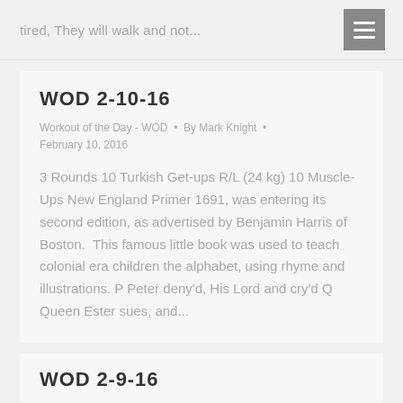tired, They will walk and not...
WOD 2-10-16
Workout of the Day - WOD • By Mark Knight • February 10, 2016
3 Rounds 10 Turkish Get-ups R/L (24 kg) 10 Muscle-Ups New England Primer 1691, was entering its second edition, as advertised by Benjamin Harris of Boston.  This famous little book was used to teach colonial era children the alphabet, using rhyme and illustrations. P Peter deny'd, His Lord and cry'd Q Queen Ester sues, and...
WOD 2-9-16